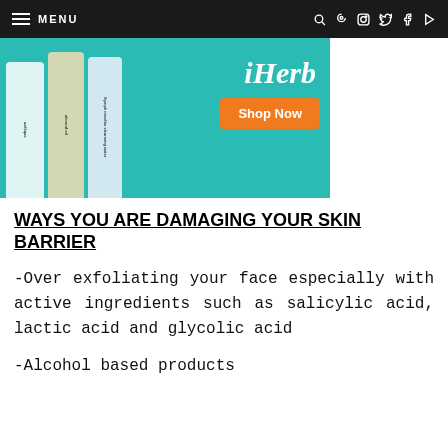MENU
[Figure (photo): iHerb advertisement banner showing skincare product bottles (azélique, almond oil, Sympli micellar cleansing water) on a teal background with 'iHerb' branding and orange 'Shop Now' button]
WAYS YOU ARE DAMAGING YOUR SKIN BARRIER
-Over exfoliating your face especially with active ingredients such as salicylic acid, lactic acid and glycolic acid
-Alcohol based products